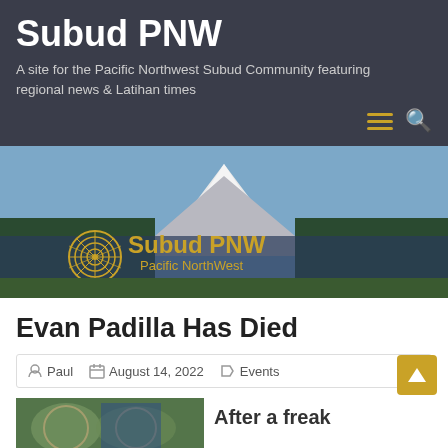Subud PNW
A site for the Pacific Northwest Subud Community featuring regional news & Latihan times
[Figure (photo): Banner photo of Mount Rainier with trees and Subud PNW Pacific NorthWest logo overlay]
Evan Padilla Has Died
Paul  August 14, 2022  Events
After a freak